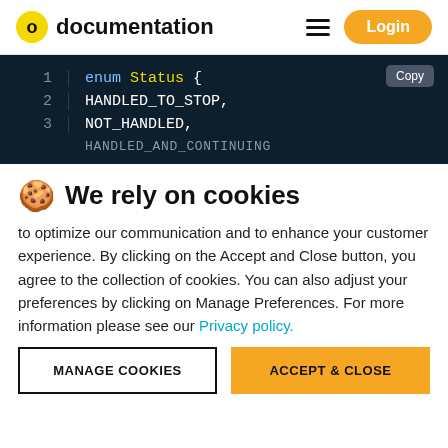documentation  Login
[Figure (screenshot): Code block showing enum Status with lines: 1 enum Status {, 2 HANDLED_TO_STOP,, 3 NOT_HANDLED, and a partially visible fourth line. Copy button in top right corner.]
🍪 We rely on cookies
to optimize our communication and to enhance your customer experience. By clicking on the Accept and Close button, you agree to the collection of cookies. You can also adjust your preferences by clicking on Manage Preferences. For more information please see our Privacy policy.
MANAGE COOKIES   ACCEPT & CLOSE